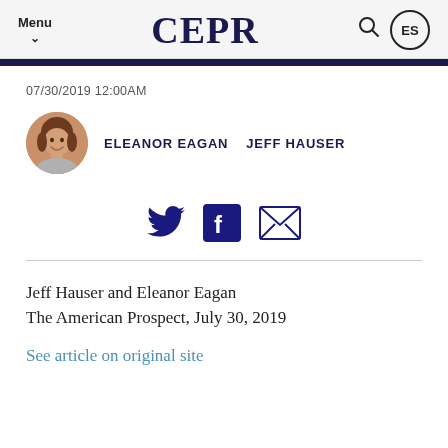Menu CEPR ES
07/30/2019 12:00AM
ELEANOR EAGAN   JEFF HAUSER
[Figure (infographic): Social sharing icons: Twitter bird, Facebook f, and email envelope, all in dark navy blue]
Jeff Hauser and Eleanor Eagan
The American Prospect, July 30, 2019
See article on original site